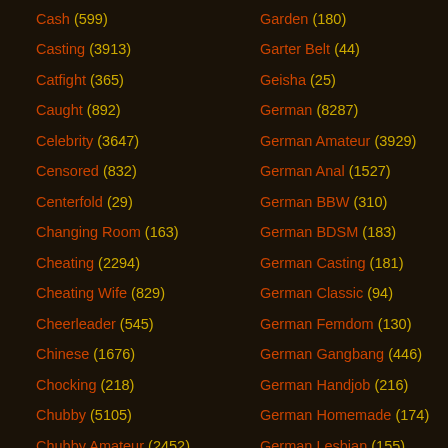Cash (599)
Casting (3913)
Catfight (365)
Caught (892)
Celebrity (3647)
Censored (832)
Centerfold (29)
Changing Room (163)
Cheating (2294)
Cheating Wife (829)
Cheerleader (545)
Chinese (1676)
Chocking (218)
Chubby (5105)
Chubby Amateur (2452)
Garden (180)
Garter Belt (44)
Geisha (25)
German (8287)
German Amateur (3929)
German Anal (1527)
German BBW (310)
German BDSM (183)
German Casting (181)
German Classic (94)
German Femdom (130)
German Gangbang (446)
German Handjob (216)
German Homemade (174)
German Lesbian (155)